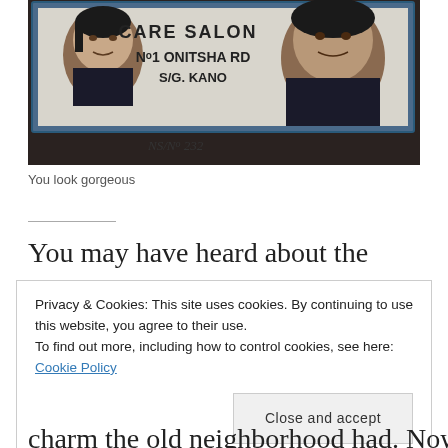[Figure (photo): Photo of a hair care salon sign in Kano, Nigeria. Sign shows painted portraits of two women and text reading 'CARE SALON', 'No.1 ONITSHA RD', 'S/G. KANO'. Below the sign is handwritten text 'NS/No 232'.]
You look gorgeous
You may have heard about the
Privacy & Cookies: This site uses cookies. By continuing to use this website, you agree to their use.
To find out more, including how to control cookies, see here: Cookie Policy
Close and accept
charm the old neighborhood had. Now